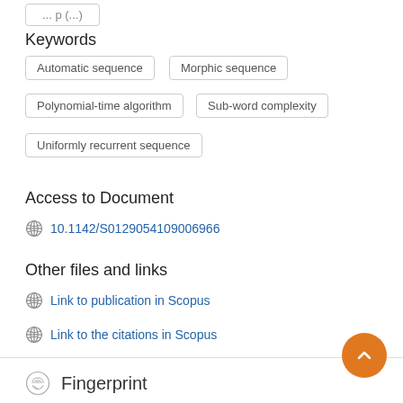Keywords
Automatic sequence
Morphic sequence
Polynomial-time algorithm
Sub-word complexity
Uniformly recurrent sequence
Access to Document
10.1142/S0129054109006966
Other files and links
Link to publication in Scopus
Link to the citations in Scopus
Fingerprint